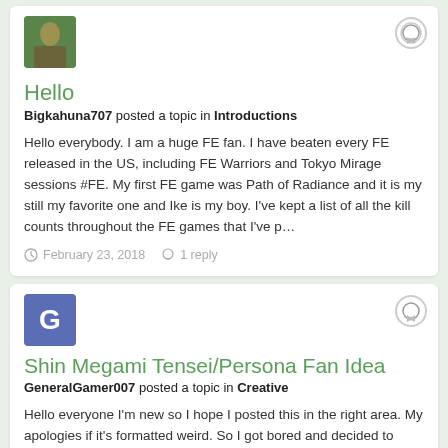[Figure (photo): User avatar thumbnail showing a nature/green photo]
Hello
Bigkahuna707 posted a topic in Introductions
Hello everybody. I am a huge FE fan. I have beaten every FE released in the US, including FE Warriors and Tokyo Mirage sessions #FE. My first FE game was Path of Radiance and it is my still my favorite one and Ike is my boy. I've kept a list of all the kill counts throughout the FE games that I've p…
February 23, 2018   1 reply
[Figure (illustration): User avatar with letter G on blue/indigo background]
Shin Megami Tensei/Persona Fan Idea
GeneralGamer007 posted a topic in Creative
Hello everyone I'm new so I hope I posted this in the right area. My apologies if it's formatted weird. So I got bored and decided to combine a bunch of SMT/Persona Elements into a possible chart.